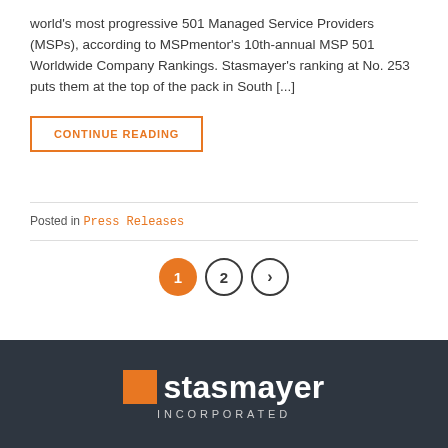world's most progressive 501 Managed Service Providers (MSPs), according to MSPmentor's 10th-annual MSP 501 Worldwide Company Rankings. Stasmayer's ranking at No. 253 puts them at the top of the pack in South [...]
CONTINUE READING
Posted in Press Releases
[Figure (other): Pagination controls: page 1 (active, orange circle), page 2, and next arrow in dark circles]
[Figure (logo): Stasmayer Incorporated logo on dark grey footer background — orange square followed by bold white text 'Stasmayer' with 'INCORPORATED' in smaller caps below]